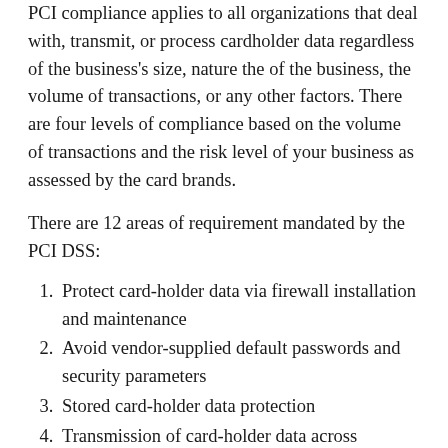PCI compliance applies to all organizations that deal with, transmit, or process cardholder data regardless of the business's size, nature the of the business, the volume of transactions, or any other factors. There are four levels of compliance based on the volume of transactions and the risk level of your business as assessed by the card brands.
There are 12 areas of requirement mandated by the PCI DSS:
Protect card-holder data via firewall installation and maintenance
Avoid vendor-supplied default passwords and security parameters
Stored card-holder data protection
Transmission of card-holder data across open/public networks must be encrypted
Regular updating of anti-virus software
Secure systems and apps
Card-holder data access must be restricted to a need-to-know basis, requirement for unique IDs